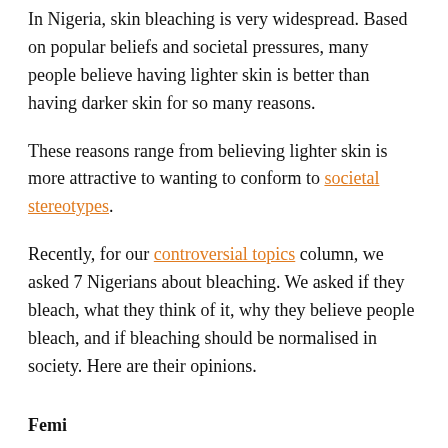In Nigeria, skin bleaching is very widespread. Based on popular beliefs and societal pressures, many people believe having lighter skin is better than having darker skin for so many reasons.
These reasons range from believing lighter skin is more attractive to wanting to conform to societal stereotypes.
Recently, for our controversial topics column, we asked 7 Nigerians about bleaching. We asked if they bleach, what they think of it, why they believe people bleach, and if bleaching should be normalised in society. Here are their opinions.
Femi